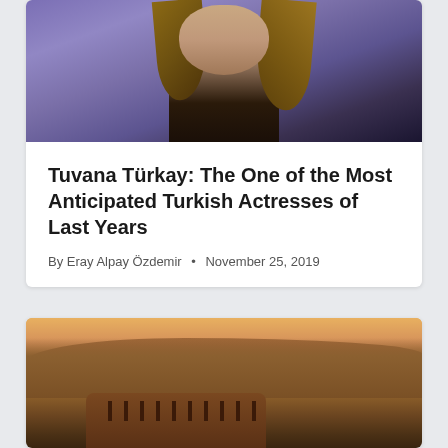[Figure (photo): Photo of a woman with long wavy hair against a purple/lavender background, wearing a dark top]
Tuvana Türkay: The One of the Most Anticipated Turkish Actresses of Last Years
By Eray Alpay Özdemir • November 25, 2019
[Figure (photo): Aerial panoramic photo of Rome showing the Colosseum and city skyline at sunset/golden hour]